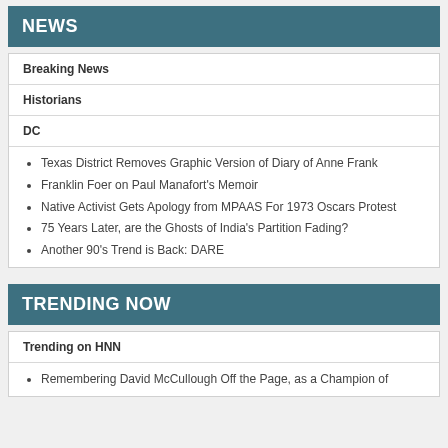NEWS
Breaking News
Historians
DC
Texas District Removes Graphic Version of Diary of Anne Frank
Franklin Foer on Paul Manafort's Memoir
Native Activist Gets Apology from MPAAS For 1973 Oscars Protest
75 Years Later, are the Ghosts of India's Partition Fading?
Another 90's Trend is Back: DARE
TRENDING NOW
Trending on HNN
Remembering David McCullough Off the Page, as a Champion of